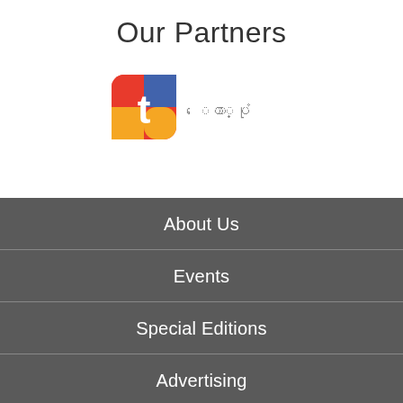Our Partners
[Figure (logo): Partner logo - colorful icon with a stylized letter T/C and text in a non-Latin script (possibly Myanmar or similar)]
About Us
Events
Special Editions
Advertising
Donate
Contact Us